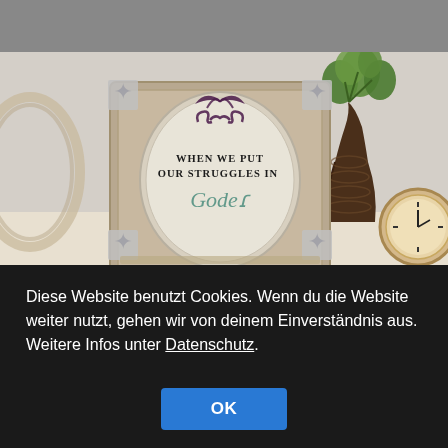[Figure (photo): A decorative photo frame with ornate silver filigree corners containing a framed sign reading 'WHEN WE PUT OUR STRUGGLES IN', set on a surface with a brown vase holding green foliage, an antique clock, and a partial view of another frame on the left. A gray bar is visible at the top of the image.]
Diese Website benutzt Cookies. Wenn du die Website weiter nutzt, gehen wir von deinem Einverständnis aus. Weitere Infos unter Datenschutz.